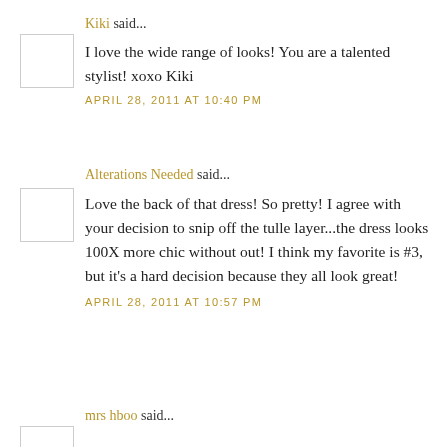Kiki said...
I love the wide range of looks! You are a talented stylist! xoxo Kiki
APRIL 28, 2011 AT 10:40 PM
Alterations Needed said...
Love the back of that dress! So pretty! I agree with your decision to snip off the tulle layer...the dress looks 100X more chic without out! I think my favorite is #3, but it's a hard decision because they all look great!
APRIL 28, 2011 AT 10:57 PM
mrs hboo said...